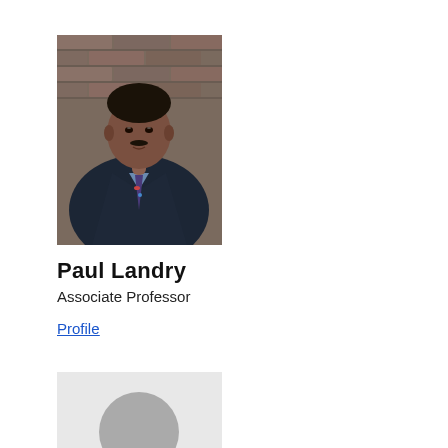[Figure (photo): Portrait photo of Paul Landry, a man in a dark suit with a colorful tie, photographed in front of a brick wall background.]
Paul Landry
Associate Professor
Profile
[Figure (photo): Placeholder profile image showing a gray silhouette circle on a light gray background.]